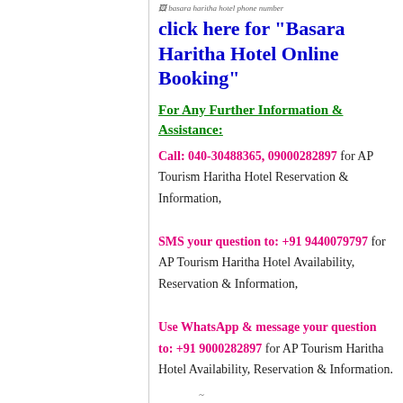[Figure (photo): Small thumbnail image with alt text 'basara haritha hotel phone number']
click here for "Basara Haritha Hotel Online Booking"
For Any Further Information & Assistance: Call: 040-30488365, 09000282897 for AP Tourism Haritha Hotel Reservation & Information, SMS your question to: +91 9440079797 for AP Tourism Haritha Hotel Availability, Reservation & Information, Use WhatsApp & message your question to: +91 9000282897 for AP Tourism Haritha Hotel Availability, Reservation & Information.
~